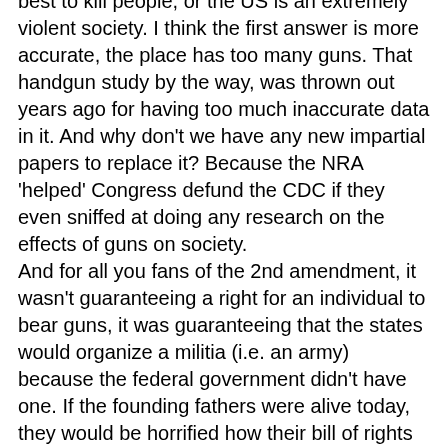best to kill people, or the US is an extremely violent society. I think the first answer is more accurate, the place has too many guns. That handgun study by the way, was thrown out years ago for having too much inaccurate data in it. And why don't we have any new impartial papers to replace it? Because the NRA 'helped' Congress defund the CDC if they even sniffed at doing any research on the effects of guns on society.
And for all you fans of the 2nd amendment, it wasn't guaranteeing a right for an individual to bear guns, it was guaranteeing that the states would organize a militia (i.e. an army) because the federal government didn't have one. If the founding fathers were alive today, they would be horrified how their bill of rights had been corrupted and manipulated to promote guns. Just check out the words on the Thomas Jefferson's memorial in DC to see what I mean (he basically says that the bill of rights and the constitution are a starting point, and that they should be adjusted to meet the society needs of the day, not be a static rigid document as the current Supreme Crt thinks it should be)